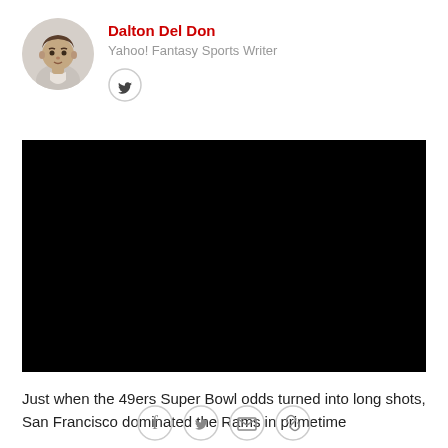Dalton Del Don
Yahoo! Fantasy Sports Writer
[Figure (photo): Author headshot of Dalton Del Don, a man in a collared shirt, circular cropped photo]
[Figure (other): Twitter social icon button, circle with bird logo]
[Figure (other): Black video player rectangle, no visible content]
Just when the 49ers Super Bowl odds turned into long shots, San Francisco dominated the Rams in primetime
[Figure (other): Social share buttons: Facebook, Twitter, Email, Link icons in circles]